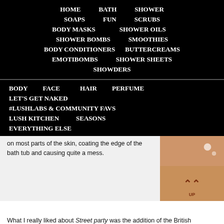HOME  BATH  SHOWER  SOAPS  FUN  SCRUBS  BODY MASKS  SHOWER OILS  SHOWER BOMBS  SMOOTHIES  BODY CONDITIONERS  BUTTERCREAMS  EMOTIBOMBS  SHOWER SHEETS  SHOWDERS
BODY  FACE  HAIR  PERFUME  LET'S GET NAKED  #LUSHLABS & COMMUNITY FAVS  LUSH KITCHEN  SEASONS  EVERYTHING ELSE
on most parts of the skin, coating the edge of the bath tub and causing quite a mess.
[Figure (photo): Close-up photo of skin or bath product with orange/red tones and bubbles, with an UP arrow symbol at the bottom]
What I really liked about Street party was the addition of the British